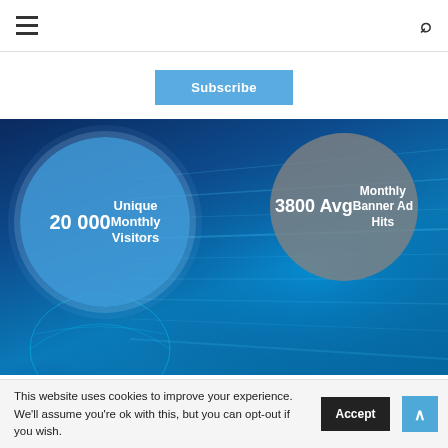≡  🔍
Subscribe
[Figure (infographic): Dark blue technology background with two circular badges: left blue circle reads '20 000 Unique Monthly Visitors', right gray circle reads '3800 Avg Monthly Banner Ad Hits']
This website uses cookies to improve your experience. We'll assume you're ok with this, but you can opt-out if you wish. Accept